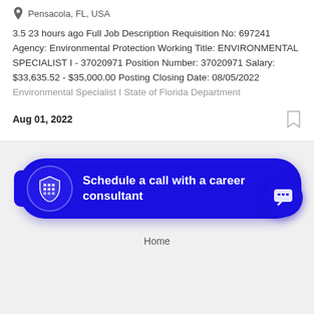Pensacola, FL, USA
3.5 23 hours ago Full Job Description Requisition No: 697241 Agency: Environmental Protection Working Title: ENVIRONMENTAL SPECIALIST I - 37020971 Position Number: 37020971 Salary: $33,635.52 - $35,000.00 Posting Closing Date: 08/05/2022 Environmental Specialist I State of Florida Department
Aug 01, 2022
[Figure (other): Schedule a call with a career consultant button with shield logo]
[Figure (other): Chat bubble icon button]
Home